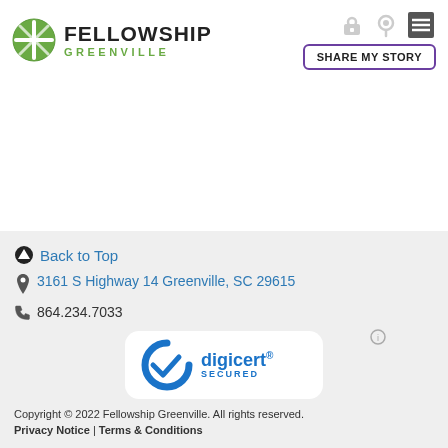[Figure (logo): Fellowship Greenville logo with green leaf/cross icon, 'FELLOWSHIP' in bold black and 'GREENVILLE' in green below]
SHARE MY STORY
Back to Top
3161 S Highway 14 Greenville, SC 29615
864.234.7033
[Figure (logo): DigiCert Secured badge with blue checkmark and arc logo]
Copyright © 2022 Fellowship Greenville. All rights reserved.
Privacy Notice | Terms & Conditions